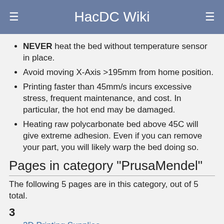HacDC Wiki
NEVER heat the bed without temperature sensor in place.
Avoid moving X-Axis >195mm from home position.
Printing faster than 45mm/s incurs excessive stress, frequent maintenance, and cost. In particular, the hot end may be damaged.
Heating raw polycarbonate bed above 45C will give extreme adhesion. Even if you can remove your part, you will likely warp the bed doing so.
Pages in category "PrusaMendel"
The following 5 pages are in this category, out of 5 total.
3
3D Printing Supplies